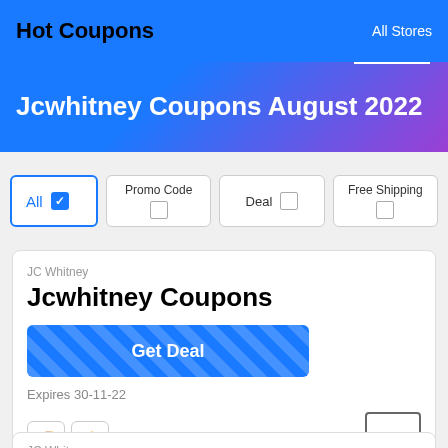Hot Coupons | All Stores
Jcwhitney Coupons August 2022
All  Promo Code  Deal  Free Shipping
JC Whitney
Jcwhitney Coupons
Get Deal
Expires 30-11-22
JC Whitney